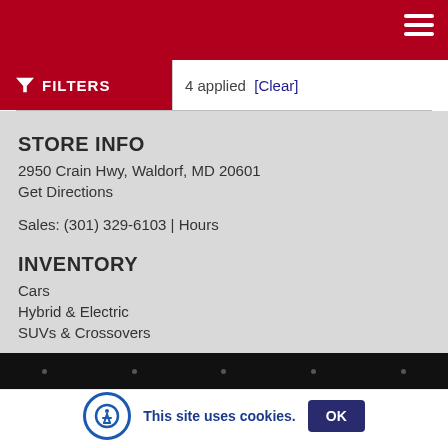FILTERS | 4 applied [Clear]
STORE INFO
2950 Crain Hwy, Waldorf, MD 20601
Get Directions
Sales: (301) 329-6103 | Hours
INVENTORY
Cars
Hybrid & Electric
SUVs & Crossovers
This site uses cookies. OK